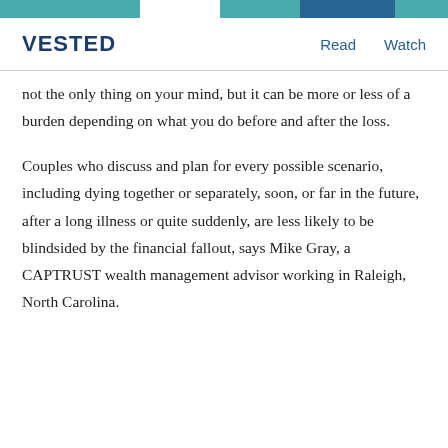VESTED    Read    Watch
not the only thing on your mind, but it can be more or less of a burden depending on what you do before and after the loss.
Couples who discuss and plan for every possible scenario, including dying together or separately, soon, or far in the future, after a long illness or quite suddenly, are less likely to be blindsided by the financial fallout, says Mike Gray, a CAPTRUST wealth management advisor working in Raleigh, North Carolina.